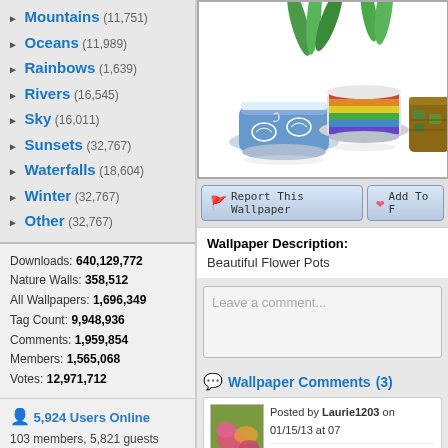Mountains (11,751)
Oceans (11,989)
Rainbows (1,639)
Rivers (16,545)
Sky (16,011)
Sunsets (32,767)
Waterfalls (18,604)
Winter (32,767)
Other (32,767)
Downloads: 640,129,772
Nature Walls: 358,512
All Wallpapers: 1,696,349
Tag Count: 9,948,936
Comments: 1,959,854
Members: 1,565,068
Votes: 12,971,712
5,924 Users Online
103 members, 5,821 guests
AlvaradoSulwen, Anderlecht, artinconstruction, Astro, BestPsychic000, bmpressurewashing2, Boatent98, boliou, brandbajade, bridgecounseling, brighterfinance, CarrollDentistry, cell-phone-hacking, chatonfragile, Cleaners567, ColbyRichardson, cortez68341, crypticpixelseo, cupidc657, deborahhinkley, doyleplumbinggroup, driverjoe, duanvinhomescom, dubmovie, enailvietnam, erahobb,
[Figure (photo): Colorful flower pots with plants - blue pot with shell designs, rainbow-striped pot, and brown decorative pot]
Report This Wallpaper
Add To F
Wallpaper Description:
Beautiful Flower Pots
Leave a comment...
Wallpaper Comments (3)
Posted by Laurie1203 on 01/15/13 at 07
Love them, they are so happy!